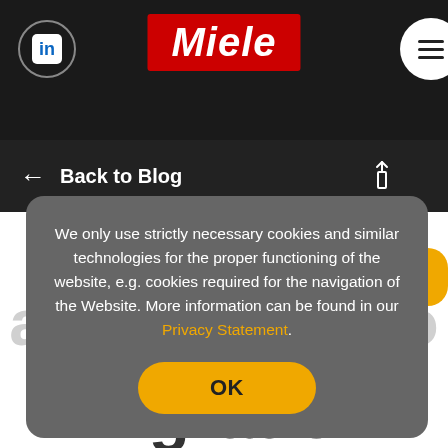[Figure (screenshot): Miele website header with LinkedIn icon circle on left, Miele red logo in center, hamburger menu circle on right, on dark background]
Back to Blog
We only use strictly necessary cookies and similar technologies for the proper functioning of the website, e.g. cookies required for the navigation of the Website. More information can be found in our Privacy Statement.
[Figure (screenshot): Cookie consent dialog with OK button on grey overlay, background shows large watermark text: Introduction to automation to workplace migration]